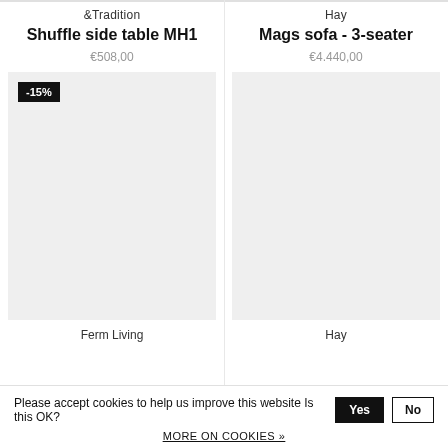&Tradition
Shuffle side table MH1
€508,00
[Figure (photo): Product image placeholder (light grey box) with -15% discount badge in top left corner]
Ferm Living
Hay
Mags sofa - 3-seater
€4.440,00
[Figure (photo): Product image placeholder (light grey box)]
Hay
Please accept cookies to help us improve this website Is this OK?
MORE ON COOKIES »